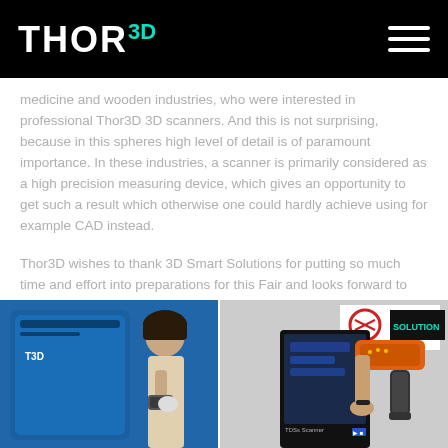THOR 3D
medicine and wooden industries, who were interested in professional Thor3D 3D scanners. And this is not surprising, because in this spheres high level of detail is of paramount importance. In these industries, a scanner is primarily considered as a high precision measuring device, which gives an opportunity to get such a result which otherwise one could hardly achieve using for example CAD instead.
Thor3D wishes to thank 3D Smart Solutions for putting so much time and effort into preparations for this Fair and looks forward to next year with great anticipation.
[Figure (photo): Photo strip showing two images: left image shows a woman at an exhibition stand with a blue 3D scanner device, right image shows a hand-held orange 3D scanner being demonstrated at a 3D Solutions exhibition stand.]